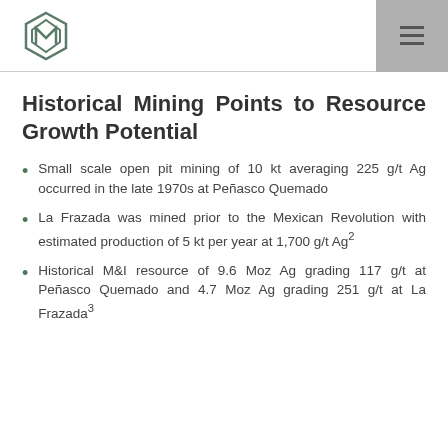[Figure (logo): Hexagonal logo with stylized M letter in dark green/grey outline]
Historical Mining Points to Resource Growth Potential
Small scale open pit mining of 10 kt averaging 225 g/t Ag occurred in the late 1970s at Peñasco Quemado
La Frazada was mined prior to the Mexican Revolution with estimated production of 5 kt per year at 1,700 g/t Ag²
Historical M&I resource of 9.6 Moz Ag grading 117 g/t at Peñasco Quemado and 4.7 Moz Ag grading 251 g/t at La Frazada³